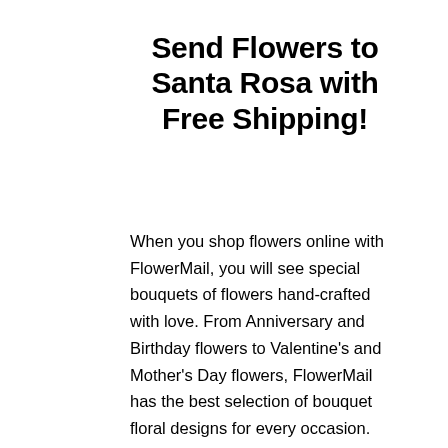Send Flowers to Santa Rosa with Free Shipping!
When you shop flowers online with FlowerMail, you will see special bouquets of flowers hand-crafted with love. From Anniversary and Birthday flowers to Valentine's and Mother's Day flowers, FlowerMail has the best selection of bouquet floral designs for every occasion.
FlowerMail delivers and offers free next-day shipping to Santa